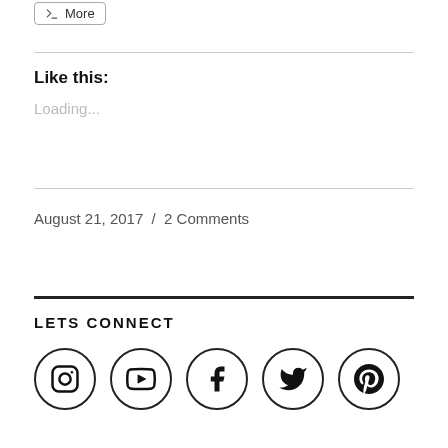[Figure (other): More button with share icon]
Like this:
Loading...
August 21, 2017  /  2 Comments
LETS CONNECT
[Figure (other): Social media icons: Instagram, YouTube, Facebook, Twitter, Pinterest]